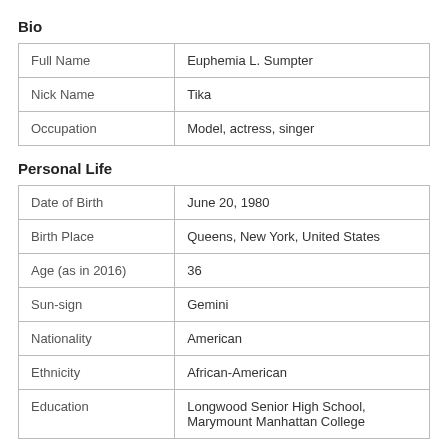Bio
| Full Name | Euphemia L. Sumpter |
| Nick Name | Tika |
| Occupation | Model, actress, singer |
Personal Life
| Date of Birth | June 20, 1980 |
| Birth Place | Queens, New York, United States |
| Age (as in 2016) | 36 |
| Sun-sign | Gemini |
| Nationality | American |
| Ethnicity | African-American |
| Education | Longwood Senior High School, Marymount Manhattan College |